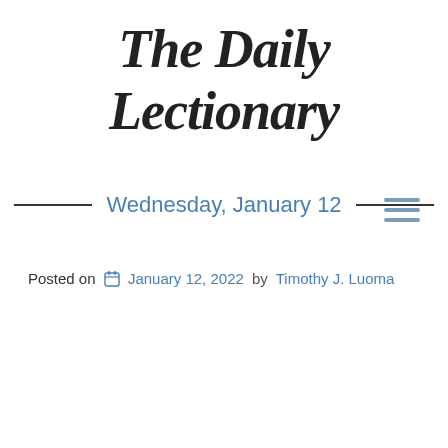The Daily Lectionary
[Figure (other): Hamburger menu icon with three horizontal lines]
Wednesday, January 12
Posted on January 12, 2022 by Timothy J. Luoma